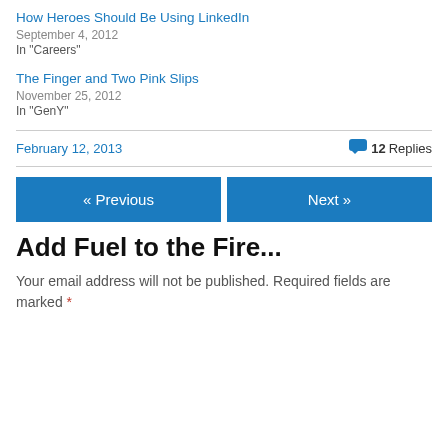How Heroes Should Be Using LinkedIn
September 4, 2012
In "Careers"
The Finger and Two Pink Slips
November 25, 2012
In "GenY"
February 12, 2013
12 Replies
« Previous
Next »
Add Fuel to the Fire...
Your email address will not be published. Required fields are marked *